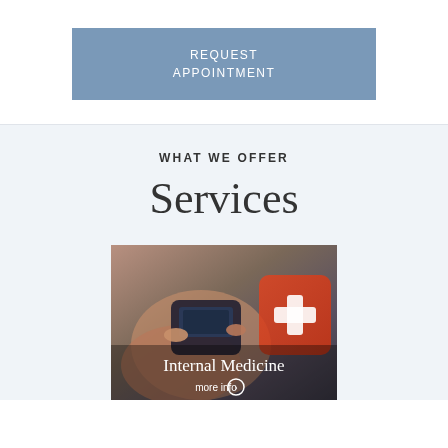REQUEST APPOINTMENT
WHAT WE OFFER
Services
[Figure (photo): Medical photo showing hands using a blood glucose monitor with a red first aid kit in the background. Overlaid text reads 'Internal Medicine' and 'more info' with an arrow icon.]